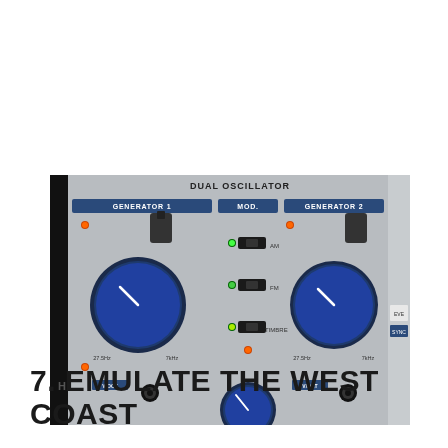[Figure (photo): Close-up photo of a Dual Oscillator synthesizer module with two large blue knobs labeled Generator 1 and Generator 2, a central Mod section with AM, FM and Timbre sliders, orange and green LED indicators, and V/OCT patch jacks at the bottom.]
7. EMULATE THE WEST COAST